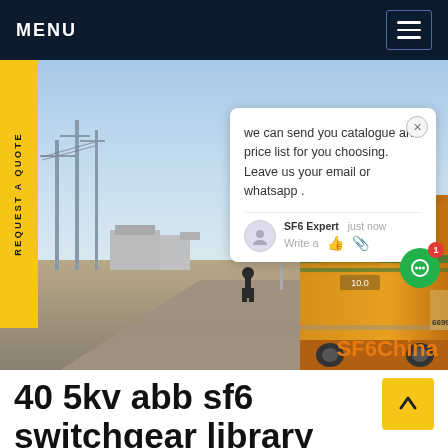MENU
[Figure (photo): Outdoor photo of a yellow electrical/SF6 service vehicle truck parked at a power substation. High-voltage transmission towers and substation equipment visible in background. Blue sky. A person visible in the midground. Watermark SF6China in orange bottom-right.]
REQUEST A QUOTE
we can send you catalogue and price list for you choosing. Leave us your email or whatsapp .
SF6 Expert    just now
Write a
40 5kv abb sf6 switchgear library